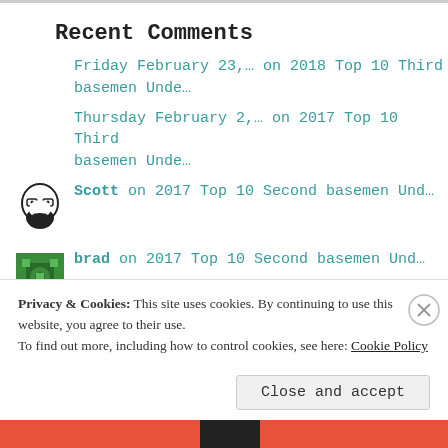Recent Comments
Friday February 23,… on 2018 Top 10 Third basemen Unde…
Thursday February 2,… on 2017 Top 10 Third basemen Unde…
Scott on 2017 Top 10 Second basemen Und…
brad on 2017 Top 10 Second basemen Und…
Privacy & Cookies: This site uses cookies. By continuing to use this website, you agree to their use.
To find out more, including how to control cookies, see here: Cookie Policy
Close and accept